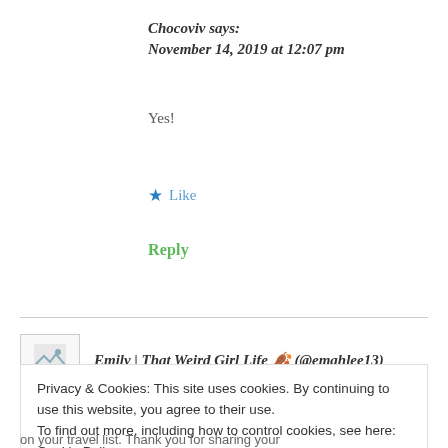Chocoviv says:
November 14, 2019 at 12:07 pm
Yes!
★ Like
Reply
Emily | That Weird Girl Life 🍂 (@emahlee13)
Privacy & Cookies: This site uses cookies. By continuing to use this website, you agree to their use.
To find out more, including how to control cookies, see here: Cookie Policy
Close and accept
on your travel list. Thank you for sharing your